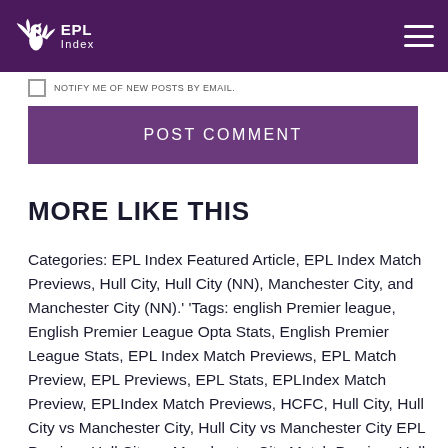EPL Index
NOTIFY ME OF NEW POSTS BY EMAIL.
POST COMMENT
MORE LIKE THIS
Categories: EPL Index Featured Article, EPL Index Match Previews, Hull City, Hull City (NN), Manchester City, and Manchester City (NN).' 'Tags: english Premier league, English Premier League Opta Stats, English Premier League Stats, EPL Index Match Previews, EPL Match Preview, EPL Previews, EPL Stats, EPLIndex Match Preview, EPLIndex Match Previews, HCFC, Hull City, Hull City vs Manchester City, Hull City vs Manchester City EPL Preview, Hull City vs Manchester City Match Preview, Hull City vs Manchester City Premier League Preview, Hull City vs Manchester City Preview, Manchester City, Manuel Pellegrini, MCFC, premier league, Premier League Match